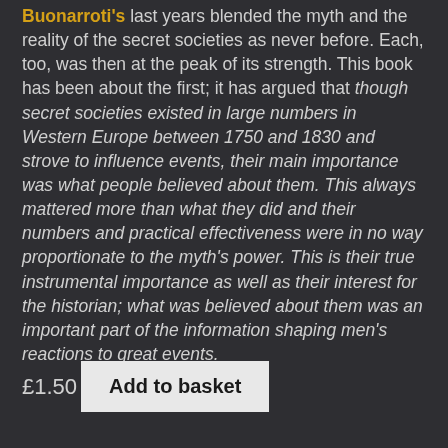Buonarroti's last years blended the myth and the reality of the secret societies as never before. Each, too, was then at the peak of its strength. This book has been about the first; it has argued that though secret societies existed in large numbers in Western Europe between 1750 and 1830 and strove to influence events, their main importance was what people believed about them. This always mattered more than what they did and their numbers and practical effectiveness were in no way proportionate to the myth's power. This is their true instrumental importance as well as their interest for the historian; what was believed about them was an important part of the information shaping men's reactions to great events.
£1.50  Add to basket